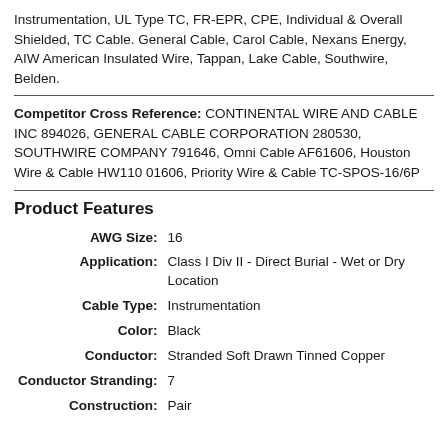Instrumentation, UL Type TC, FR-EPR, CPE, Individual & Overall Shielded, TC Cable. General Cable, Carol Cable, Nexans Energy, AIW American Insulated Wire, Tappan, Lake Cable, Southwire, Belden.
Competitor Cross Reference: CONTINENTAL WIRE AND CABLE INC 894026, GENERAL CABLE CORPORATION 280530, SOUTHWIRE COMPANY 791646, Omni Cable AF61606, Houston Wire & Cable HW110 01606, Priority Wire & Cable TC-SPOS-16/6P
Product Features
| Feature | Value |
| --- | --- |
| AWG Size: | 16 |
| Application: | Class I Div II - Direct Burial - Wet or Dry Location |
| Cable Type: | Instrumentation |
| Color: | Black |
| Conductor: | Stranded Soft Drawn Tinned Copper |
| Conductor Stranding: | 7 |
| Construction: | Pair |